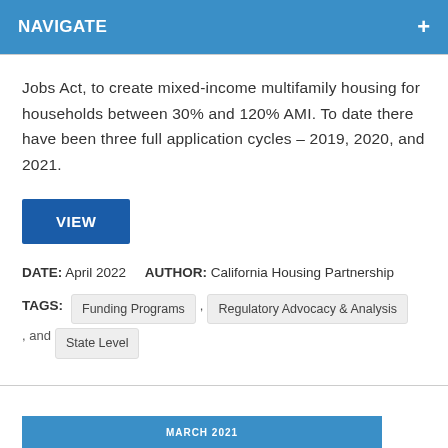NAVIGATE
Jobs Act, to create mixed-income multifamily housing for households between 30% and 120% AMI. To date there have been three full application cycles – 2019, 2020, and 2021.
VIEW
DATE: April 2022   AUTHOR: California Housing Partnership
TAGS: Funding Programs , Regulatory Advocacy & Analysis , and State Level